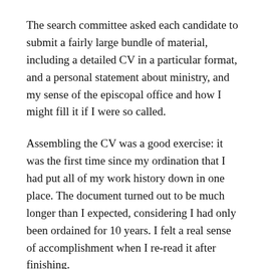The search committee asked each candidate to submit a fairly large bundle of material, including a detailed CV in a particular format, and a personal statement about ministry, and my sense of the episcopal office and how I might fill it if I were so called.
Assembling the CV was a good exercise: it was the first time since my ordination that I had put all of my work history down in one place. The document turned out to be much longer than I expected, considering I had only been ordained for 10 years. I felt a real sense of accomplishment when I re-read it after finishing.
The statement was quite another matter. I sweated blood over it, reading, thinking, praying, writing, tearing up, writing again, finally telling myself that it wasn't going to get any better. It may be the best piece of writing I've ever done. In the years since, I have